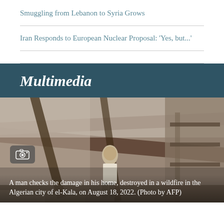Smuggling from Lebanon to Syria Grows
Iran Responds to European Nuclear Proposal: 'Yes, but...'
Multimedia
[Figure (photo): A man checks the damage in his home, destroyed in a wildfire in the Algerian city of el-Kala, on August 18, 2022. Photo by AFP.]
A man checks the damage in his home, destroyed in a wildfire in the Algerian city of el-Kala, on August 18, 2022. (Photo by AFP)